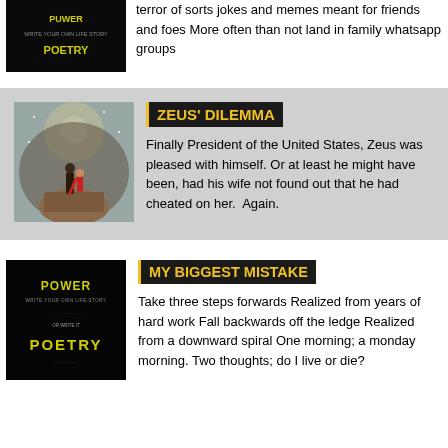[Figure (illustration): Book cover for a poetry book, dark/black background with stylized text]
terror of sorts jokes and memes meant for friends and foes More often than not land in family whatsapp groups
[Figure (illustration): Book cover illustration showing two figures (child in red cape, adult) standing on a cliff under a full moon with swirling background]
ZEUS' DILEMMA
Finally President of the United States, Zeus was pleased with himself. Or at least he might have been, had his wife not found out that he had cheated on her.  Again.
[Figure (illustration): Book cover for Power Poetry - Write Your Own Life Story, dark background with yellow/gold stylized text]
MY BIGGEST MISTAKE
Take three steps forwards Realized from years of hard work Fall backwards off the ledge Realized from a downward spiral One morning; a monday morning. Two thoughts; do I live or die?